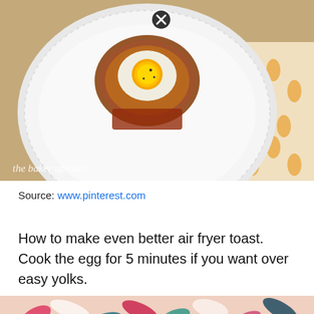[Figure (photo): A food photo showing a baked egg in a toast cup on a white plate with dotted rim, placed on an orange-patterned napkin. Text watermark reads 'the baker upstairs'. A close button (X in circle) overlays the top of the image.]
Source: www.pinterest.com
How to make even better air fryer toast. Cook the egg for 5 minutes if you want over easy yolks.
[Figure (photo): Bottom portion of a second image showing a colorful leaf-pattern background (pink, teal, white) with a tan/beige lower strip. Partially visible text reads 'Air fryer' with a close button. A red scroll-to-top button with an upward arrow appears in the bottom right.]